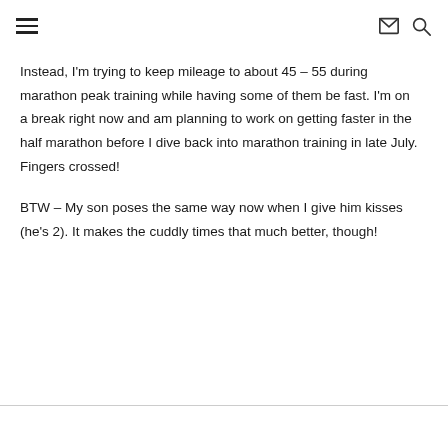≡  ✉ 🔍
Instead, I'm trying to keep mileage to about 45 – 55 during marathon peak training while having some of them be fast. I'm on a break right now and am planning to work on getting faster in the half marathon before I dive back into marathon training in late July. Fingers crossed!
BTW – My son poses the same way now when I give him kisses (he's 2). It makes the cuddly times that much better, though!